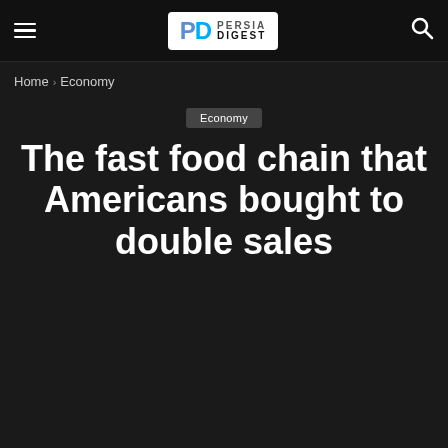Persia Digest — navigation bar with hamburger menu, logo, and search icon
Home › Economy
Economy
The fast food chain that Americans bought to double sales